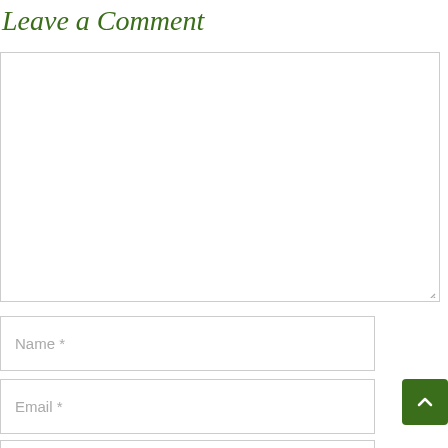Leave a Comment
[Figure (screenshot): Comment textarea input box, empty, with resize handle at bottom right]
Name *
Email *
Website
[Figure (other): Scroll-to-top button: dark green square with white upward chevron arrow]